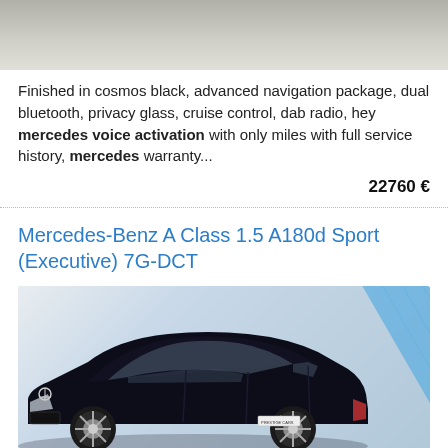[Figure (photo): Partial view of a dark car from above on light tiled floor — top portion cropped]
Finished in cosmos black, advanced navigation package, dual bluetooth, privacy glass, cruise control, dab radio, hey mercedes voice activation with only miles with full service history, mercedes warranty...
22760 €
Mercedes-Benz A Class 1.5 A180d Sport (Executive) 7G-DCT
[Figure (photo): Black Mercedes-Benz A Class hatchback parked facing left, in front of a light wall with blue diagonal stripe decoration. Badge reading 'PRESTIGE CARS' visible on rear license plate area.]